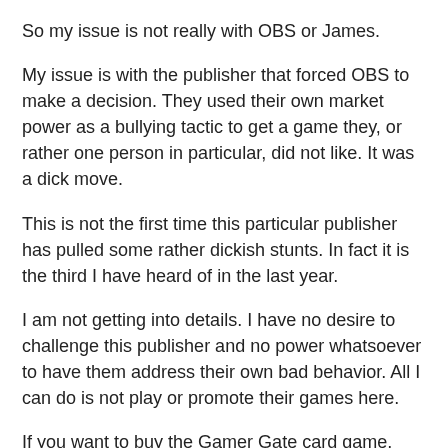So my issue is not really with OBS or James.
My issue is with the publisher that forced OBS to make a decision.  They used their own market power as a bullying tactic to get a game they, or rather one person in particular, did not like.   It was a dick move.
This is not the first time this particular publisher has pulled some rather dickish stunts.  In fact it is the third I have heard of in the last year.
I am not getting into details. I have no desire to challenge this publisher and no power whatsoever to have them address their own bad behavior.   All I can do is not play or promote their games here.
If you want to buy the Gamer Gate card game, then please head over to Postmortem Studios http://postmormortemstudios.wordpress.com/.   I have no interest in it myself, but maybe I'll buy something to show support.   Machinations of the Space Princess is a good choice.